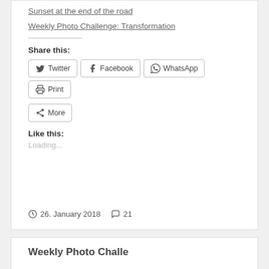Sunset at the end of the road
Weekly Photo Challenge: Transformation
Share this:
Twitter  Facebook  WhatsApp  Print  More
Like this:
Loading...
26. January 2018   21
Weekly Photo Challe...